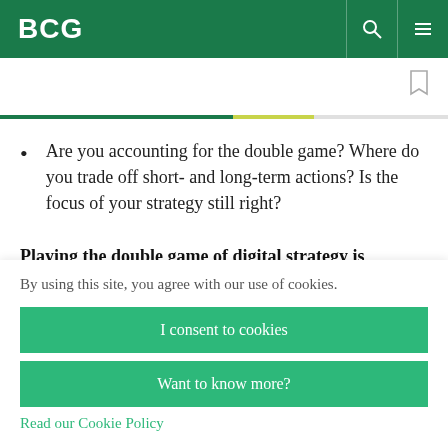BCG
Are you accounting for the double game? Where do you trade off short- and long-term actions? Is the focus of your strategy still right?
Playing the double game of digital strategy is
By using this site, you agree with our use of cookies.
I consent to cookies
Want to know more?
Read our Cookie Policy